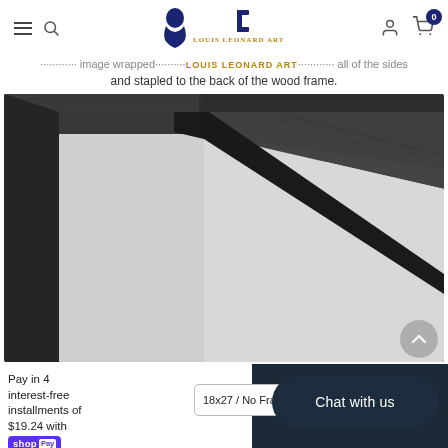Louis Leonard Art — navigation bar with hamburger menu, search, logo, user icon, cart (0)
mirror image wrapped... and stapled to the back of the wood frame.
[Figure (photo): Close-up of a black wood canvas frame corner showing the dark matte surface and mitered join]
Pay in 4 interest-free installments of $19.24 with shop Pay Learn more
18x27 / No Frame -
Chat with us